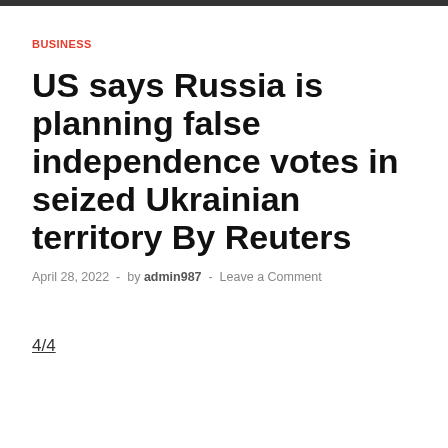BUSINESS
US says Russia is planning false independence votes in seized Ukrainian territory By Reuters
April 28, 2022 - by admin987 - Leave a Comment
4/4